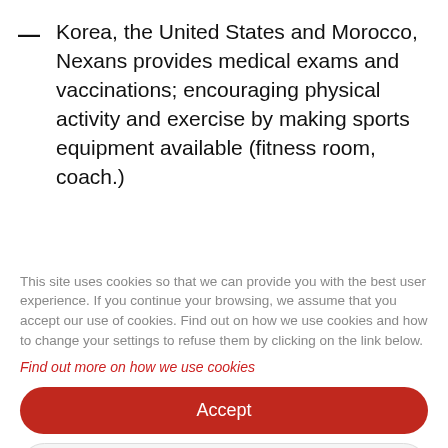Korea, the United States and Morocco, Nexans provides medical exams and vaccinations; encouraging physical activity and exercise by making sports equipment available (fitness room, coach.)
This site uses cookies so that we can provide you with the best user experience. If you continue your browsing, we assume that you accept our use of cookies. Find out on how we use cookies and how to change your settings to refuse them by clicking on the link below.
Find out more on how we use cookies